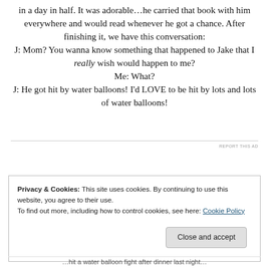in a day in half. It was adorable…he carried that book with him everywhere and would read whenever he got a chance. After finishing it, we have this conversation:
J: Mom? You wanna know something that happened to Jake that I really wish would happen to me?
Me: What?
J: He got hit by water balloons! I'd LOVE to be hit by lots and lots of water balloons!
[Figure (other): Advertisement placeholder area with a horizontal rule and 'REPORT THIS AD' label]
Privacy & Cookies: This site uses cookies. By continuing to use this website, you agree to their use.
To find out more, including how to control cookies, see here: Cookie Policy
Close and accept
…hit a water balloon fight after dinner last night…